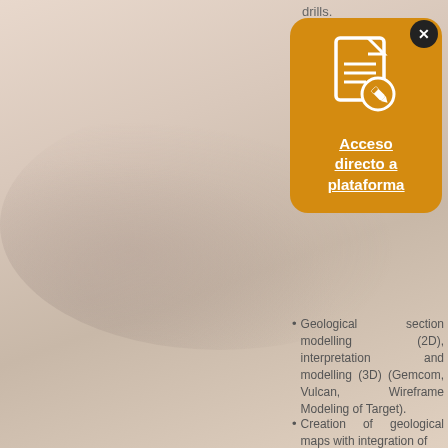drills.
[Figure (other): Orange rounded card with a document/edit icon and bold white underlined text 'Acceso directo a plataforma', plus a close (X) button in top right corner]
Geological section modelling (2D), interpretation and modelling (3D) (Gemcom, Vulcan, Wireframe Modeling of Target).
Creation of geological maps with integration of